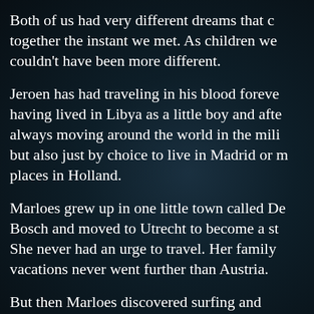Both of us had very different dreams that came together the instant we met. As children we couldn't have been more different.
Jeroen has had traveling in his blood forever, having lived in Libya as a little boy and after always moving around the world in the military but also just by choice to live in Madrid or many places in Holland.
Marloes grew up in one little town called Den Bosch and moved to Utrecht to become a student. She never had an urge to travel. Her family vacations never went further than Austria.
But then Marloes discovered surfing and suddenly staying in Holland was not an option